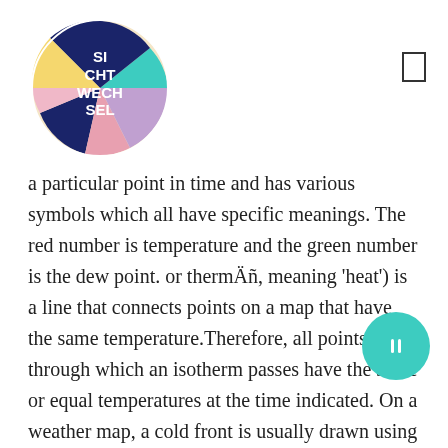[Figure (logo): Circular logo with colorful segments (yellow, teal, navy, pink, purple) and white text reading 'SI CHT WECH SEL']
[Figure (other): Small rectangle/square icon in top right corner]
a particular point in time and has various symbols which all have specific meanings. The red number is temperature and the green number is the dew point. or thermÄñ, meaning 'heat') is a line that connects points on a map that have the same temperature.Therefore, all points through which an isotherm passes have the same or equal temperatures at the time indicated. On a weather map, a cold front is usually drawn using a solid blue line with triangles pointing in the direction of the warm that will be replaced. Why? This list of 60 nouns beginning with "iso" defines words for contour lines on maps and diagrams that connect points having some feature
[Figure (other): Teal circular button with pause icon]